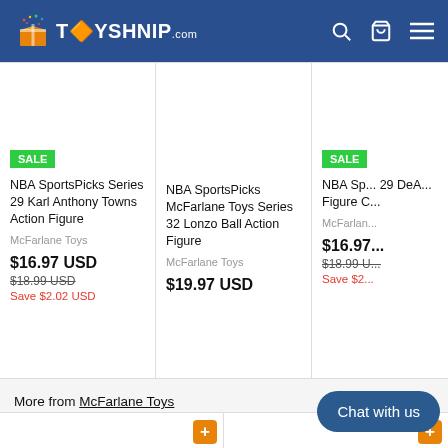TOYSHNIP.com
SALE
NBA SportsPicks Series 29 Karl Anthony Towns Action Figure
McFarlane Toys
$16.97 USD
$18.99 USD
Save $2.02 USD
NBA SportsPicks McFarlane Toys Series 32 Lonzo Ball Action Figure
McFarlane Toys
$19.97 USD
SALE
NBA Sp... 29 DeA... Figure C...
McFarlane...
$16.97...
$18.99 U...
Save $2...
More from McFarlane Toys
Chat with us